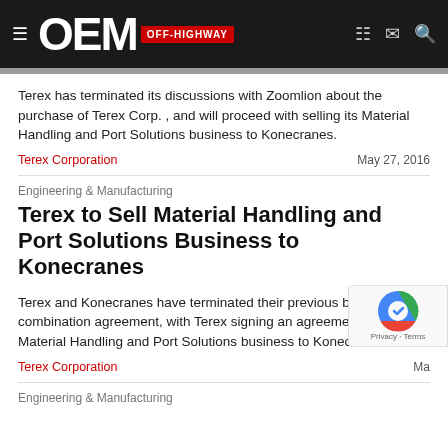OEM OFF-HIGHWAY
Terex has terminated its discussions with Zoomlion about the purchase of Terex Corp. , and will proceed with selling its Material Handling and Port Solutions business to Konecranes.
Terex Corporation    May 27, 2016
Engineering & Manufacturing
Terex to Sell Material Handling and Port Solutions Business to Konecranes
Terex and Konecranes have terminated their previous business combination agreement, with Terex signing an agreement to sell its Material Handling and Port Solutions business to Konecranes.
Terex Corporation    Ma...
Engineering & Manufacturing